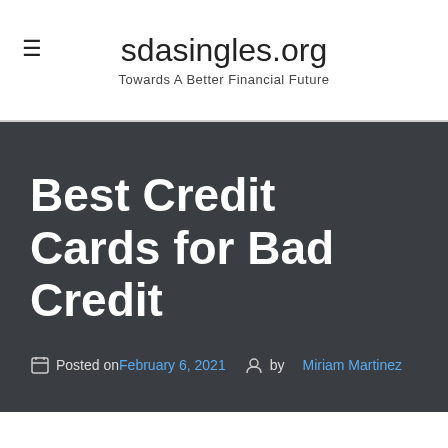sdasingles.org — Towards A Better Financial Future
Best Credit Cards for Bad Credit
Posted on February 6, 2021 by Miriam Martinez